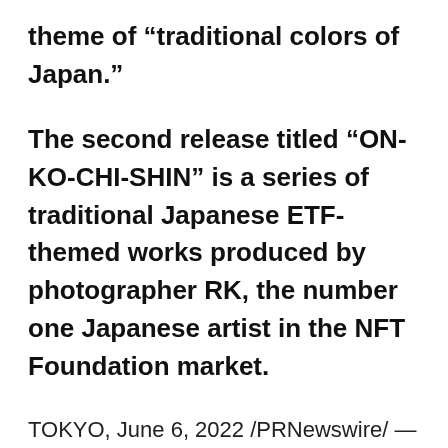theme of “traditional colors of Japan.”
The second release titled “ON-KO-CHI-SHIN” is a series of traditional Japanese ETF-themed works produced by photographer RK, the number one Japanese artist in the NFT Foundation market.
TOKYO, June 6, 2022 /PRNewswire/ — T...